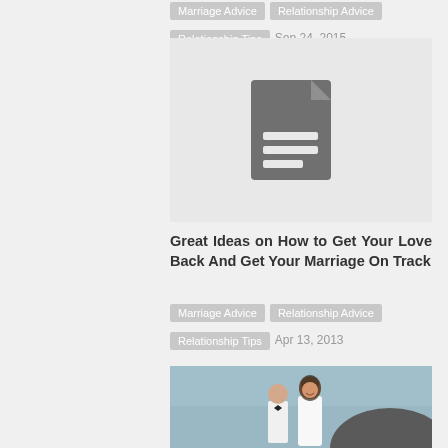Marriage Advice · Relationship Advice  Relationship Tips    Sep 24, 2015
[Figure (illustration): Gray placeholder document icon on light gray background]
Great Ideas on How to Get Your Love Back And Get Your Marriage On Track
Marriage Advice · Relationship Advice  Relationship Tips    Apr 13, 2013
[Figure (photo): Wedding couple outdoors, bride in white dress and groom in white suit with bow tie, blurred rocky background]